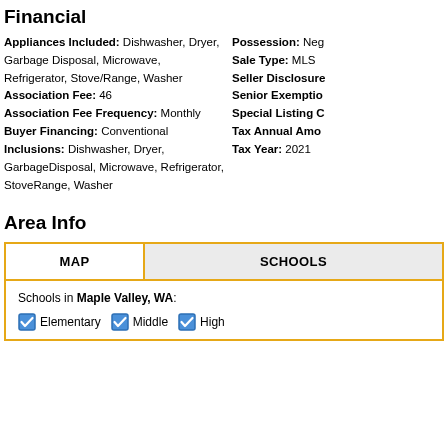Financial
Appliances Included: Dishwasher, Dryer, Garbage Disposal, Microwave, Refrigerator, Stove/Range, Washer
Association Fee: 46
Association Fee Frequency: Monthly
Buyer Financing: Conventional
Inclusions: Dishwasher, Dryer, GarbageDisposal, Microwave, Refrigerator, StoveRange, Washer
Possession: Neg
Sale Type: MLS
Seller Disclosure:
Senior Exemption:
Special Listing C:
Tax Annual Amo:
Tax Year: 2021
Area Info
| MAP | SCHOOLS |
| --- | --- |
Schools in Maple Valley, WA:
☑ Elementary  ☑ Middle  ☑ High